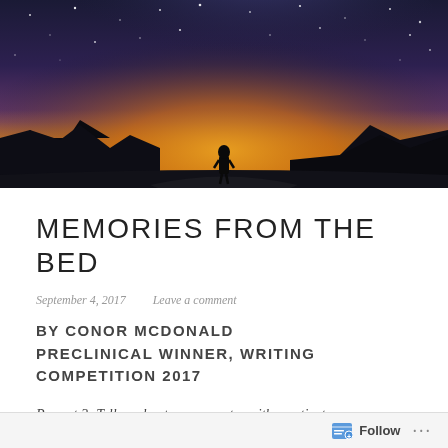[Figure (photo): Panoramic night sky photo showing the Milky Way galaxy above a mountain landscape with a silhouette of a person standing in the center, warm orange-yellow horizon glow below dark blue starry sky]
MEMORIES FROM THE BED
September 4, 2017   Leave a comment
BY CONOR MCDONALD PRECLINICAL WINNER, WRITING COMPETITION 2017
Prompt 2: Tell us about an encounter with a patient
Follow ...